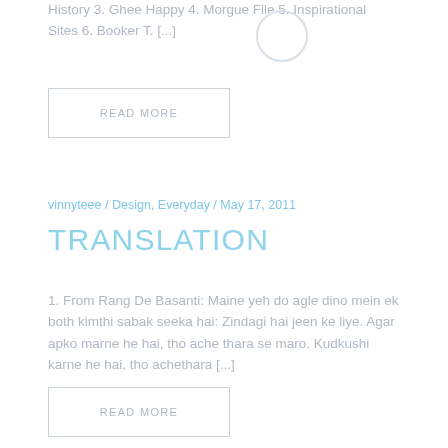History 3. Ghee Happy 4. Morgue File 5. Inspirational Sites 6. Booker T. [...]
READ MORE
vinnyteee / Design, Everyday / May 17, 2011
TRANSLATION
1. From Rang De Basanti: Maine yeh do agle dino mein ek both kimthi sabak seeka hai: Zindagi hai jeen ke liye. Agar apko marne he hai, tho ache thara se maro. Kudkushi karne he hai, tho achethara [...]
READ MORE